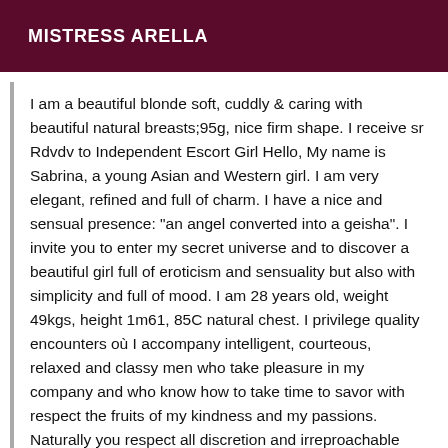MISTRESS ARELLA
I am a beautiful blonde soft, cuddly & caring with beautiful natural breasts;95g, nice firm shape. I receive sr Rdvdv to Independent Escort Girl Hello, My name is Sabrina, a young Asian and Western girl. I am very elegant, refined and full of charm. I have a nice and sensual presence: "an angel converted into a geisha". I invite you to enter my secret universe and to discover a beautiful girl full of eroticism and sensuality but also with simplicity and full of mood. I am 28 years old, weight 49kgs, height 1m61, 85C natural chest. I privilege quality encounters où I accompany intelligent, courteous, relaxed and classy men who take pleasure in my company and who know how to take time to savor with respect the fruits of my kindness and my passions. Naturally you respect all discretion and irreproachable hygiene. My photos are very recent and authentic. I assure you that you will have no surprises! If, I am busy I